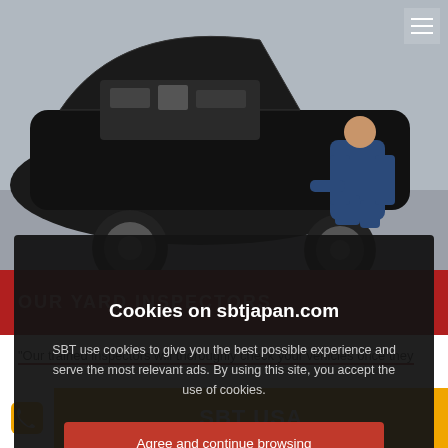[Figure (photo): A person in blue overalls kneeling and inspecting the engine of a black car with the hood open, in a parking lot or yard setting.]
OUR YARD INSPECTORS
"Our trained inspectors will thoroughly check your vehicles once they arrive in our yard."
[Figure (screenshot): Cookie consent overlay on sbtjapan.com with title 'Cookies on sbtjapan.com', body text about cookie use, and a red 'Agree and continue browsing' button.]
Cookies on sbtjapan.com
SBT use cookies to give you the best possible experience and serve the most relevant ads. By using this site, you accept the use of cookies.
Agree and continue browsing
SBT USA